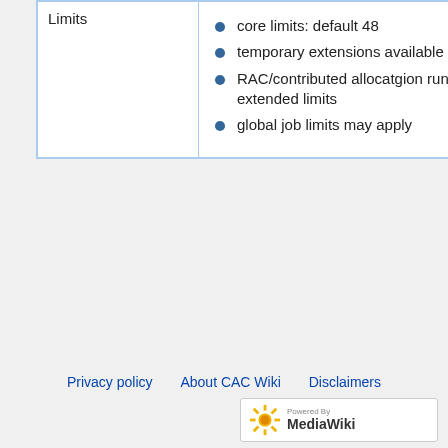|  | Limits |  |
| --- | --- | --- |
|  | core limits: default 48
temporary extensions available
RAC/contributed allocatgion run with extended limits
global job limits may apply | no con...
sam limi to s sha...
usa pric sha...
RA allo incr...
no limi... |
Privacy policy   About CAC Wiki   Disclaimers